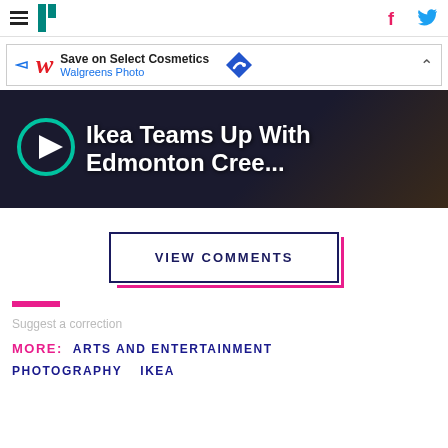HuffPost navigation with hamburger menu, logo, Facebook and Twitter icons
[Figure (screenshot): Walgreens Photo advertisement banner: 'Save on Select Cosmetics / Walgreens Photo' with navigation arrow icon and close button]
[Figure (screenshot): Video thumbnail with play button circle (teal outline) and title text 'Ikea Teams Up With Edmonton Cree...' on dark background]
VIEW COMMENTS
Suggest a correction
MORE: ARTS AND ENTERTAINMENT
PHOTOGRAPHY  IKEA